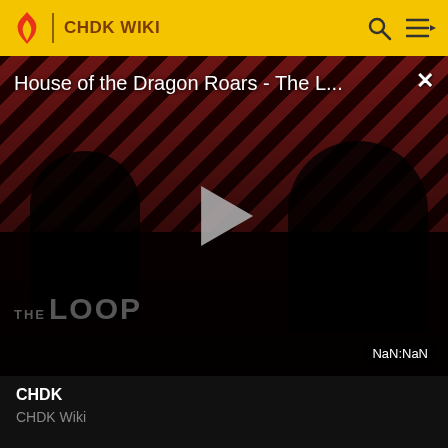CHDK WIKI
[Figure (screenshot): Video player showing 'House of the Dragon Roars - The L...' with diagonal red and dark stripe background, two dark silhouette figures, a play button in the center, 'THE LOOP' text overlay, and 'NaN:NaN' timer in bottom right]
CHDK
CHDK Wiki
[Figure (photo): Dark photo visible at bottom edge showing what appears to be an animal (black and white fur/hair)]